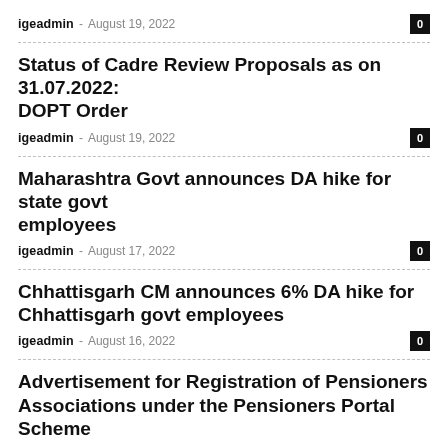igeadmin – August 19, 2022   0
Status of Cadre Review Proposals as on 31.07.2022: DOPT Order
igeadmin – August 19, 2022   0
Maharashtra Govt announces DA hike for state govt employees
igeadmin – August 17, 2022   0
Chhattisgarh CM announces 6% DA hike for Chhattisgarh govt employees
igeadmin – August 16, 2022   0
Advertisement for Registration of Pensioners Associations under the Pensioners Portal Scheme